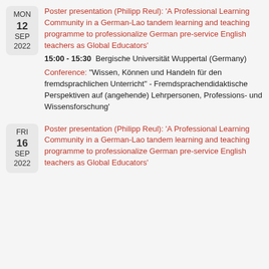MON 12 SEP 2022 | Poster presentation (Philipp Reul): 'A Professional Learning Community in a German-Lao tandem learning and teaching programme to professionalize German pre-service English teachers as Global Educators' | 15:00 - 15:30 Bergische Universität Wuppertal (Germany) | Conference: "Wissen, Können und Handeln für den fremdsprachlichen Unterricht" - Fremdsprachendidaktische Perspektiven auf (angehende) Lehrpersonen, Professions- und Wissensforschung'
FRI 16 SEP 2022 | Poster presentation (Philipp Reul): 'A Professional Learning Community in a German-Lao tandem learning and teaching programme to professionalize German pre-service English teachers as Global Educators'